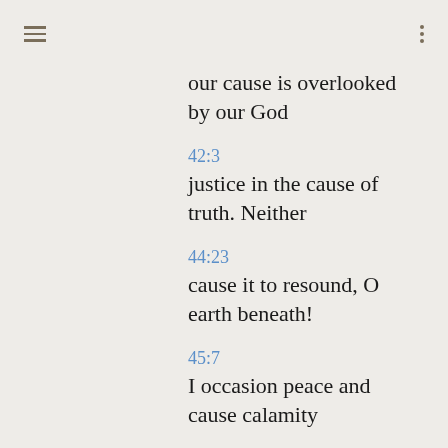≡  ⋮
our cause is overlooked by our God
42:3
justice in the cause of truth. Neither
44:23
cause it to resound, O earth beneath!
45:7
I occasion peace and cause calamity
45:25